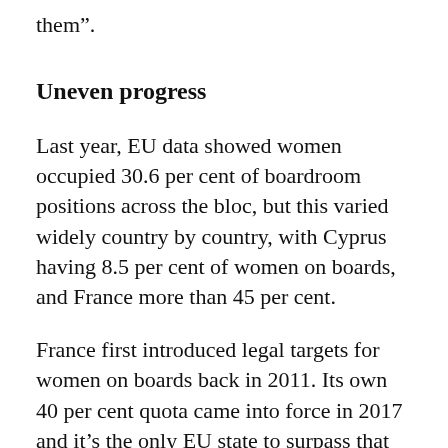them”.
Uneven progress
Last year, EU data showed women occupied 30.6 per cent of boardroom positions across the bloc, but this varied widely country by country, with Cyprus having 8.5 per cent of women on boards, and France more than 45 per cent.
France first introduced legal targets for women on boards back in 2011. Its own 40 per cent quota came into force in 2017 and it’s the only EU state to surpass that number today, according to the European Institute for Gender